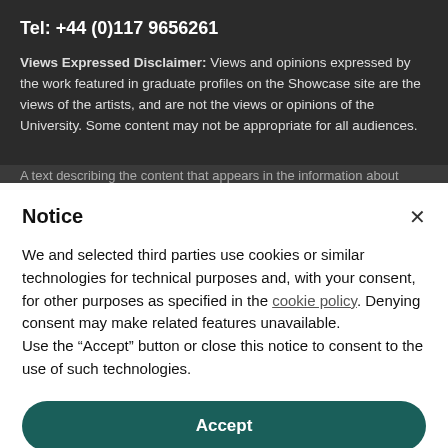Tel: +44 (0)117 9656261
Views Expressed Disclaimer: Views and opinions expressed by the work featured in graduate profiles on the Showcase site are the views of the artists, and are not the views or opinions of the University. Some content may not be appropriate for all audiences.
Notice
We and selected third parties use cookies or similar technologies for technical purposes and, with your consent, for other purposes as specified in the cookie policy. Denying consent may make related features unavailable.
Use the “Accept” button or close this notice to consent to the use of such technologies.
Accept
Learn more and customize